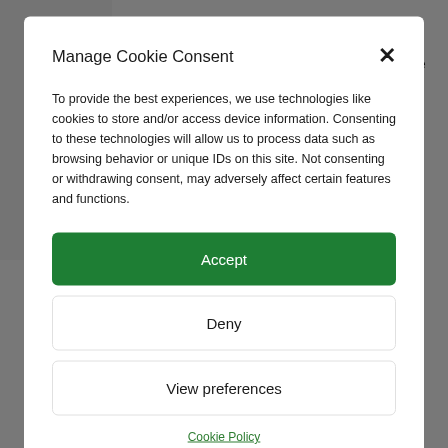Promoting the OECD Guidelines for Multinational Enterprises as part of the National Plan for the Implementation of the UN Guiding Principles
The OECD Guidelines cover all major areas of
Manage Cookie Consent
To provide the best experiences, we use technologies like cookies to store and/or access device information. Consenting to these technologies will allow us to process data such as browsing behavior or unique IDs on this site. Not consenting or withdrawing consent, may adversely affect certain features and functions.
Accept
Deny
View preferences
Cookie Policy